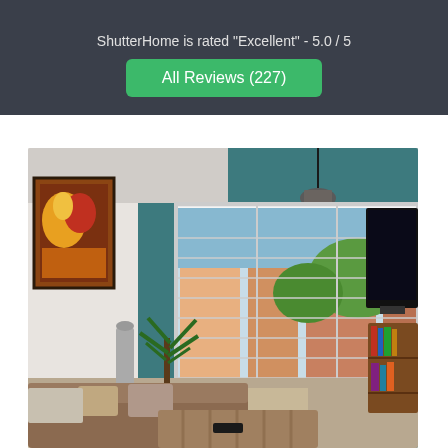ShutterHome is rated "Excellent" - 5.0 / 5
All Reviews (227)
[Figure (photo): Interior living room photo showing a room with teal walls, plantation shutters on a large window, a hanging pendant light, a tropical plant, a brown sofa, an ottoman, a flat-screen TV on the right wall, a bookshelf, and a colorful painting on the left wall.]